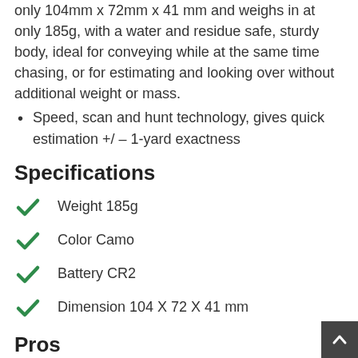only 104mm x 72mm x 41 mm and weighs in at only 185g, with a water and residue safe, sturdy body, ideal for conveying while at the same time chasing, or for estimating and looking over without additional weight or mass.
Speed, scan and hunt technology, gives quick estimation +/ – 1-yard exactness
Specifications
Weight 185g
Color Camo
Battery CR2
Dimension 104 X 72 X 41 mm
Pros
Multilayer lens
Ultra-clear image